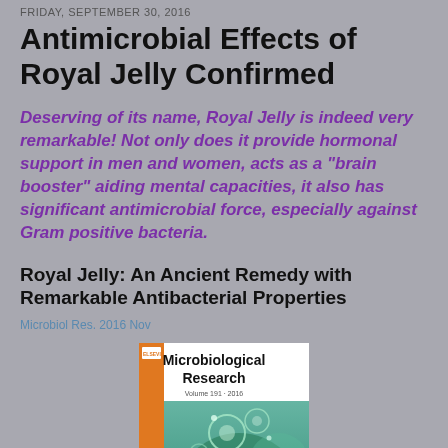FRIDAY, SEPTEMBER 30, 2016
Antimicrobial Effects of Royal Jelly Confirmed
Deserving of its name, Royal Jelly is indeed very remarkable! Not only does it provide hormonal support in men and women, acts as a "brain booster" aiding mental capacities, it also has significant antimicrobial force, especially against Gram positive bacteria.
Royal Jelly: An Ancient Remedy with Remarkable Antibacterial Properties
Microbiol Res. 2016 Nov
[Figure (photo): Cover of Microbiological Research journal showing microscopic green-tinted bacteria/cells imagery with orange Elsevier spine, titled 'Microbiological Research']